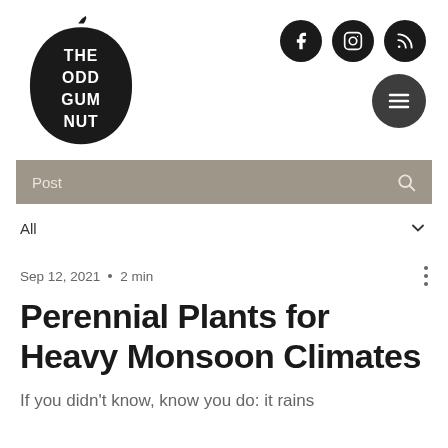[Figure (logo): The Odd Gumnut logo — black teardrop/pod shape with white text reading THE ODD GUM NUT arranged in a decorative style]
[Figure (infographic): Three social media icons (Facebook, Instagram, RSS feed) as white icons on black circles, and a menu button (three horizontal lines) on a dark grey circle]
Post
All
Sep 12, 2021  •  2 min
Perennial Plants for Heavy Monsoon Climates
If you didn't know, know you do: it rains